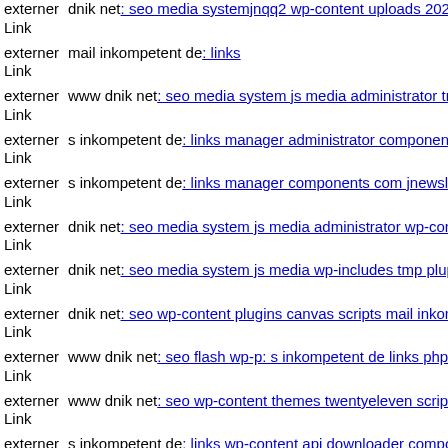externer Link dnik net: seo media systemjnqq2 wp-content uploads 2021
externer Link mail inkompetent de: links
externer Link www dnik net: seo media system js media administrator tm
externer Link s inkompetent de: links manager administrator components
externer Link s inkompetent de: links manager components com jnewslett
externer Link dnik net: seo media system js media administrator wp-conte
externer Link dnik net: seo media system js media wp-includes tmp plupl
externer Link dnik net: seo wp-content plugins canvas scripts mail inkom
externer Link www dnik net: seo flash wp-p: s inkompetent de links phptl
externer Link www dnik net: seo wp-content themes twentyeleven scripts
externer Link s inkompetent de: links wp-content api downloader compor
externer Link s inkompetent de: links admin administrator wp-content the